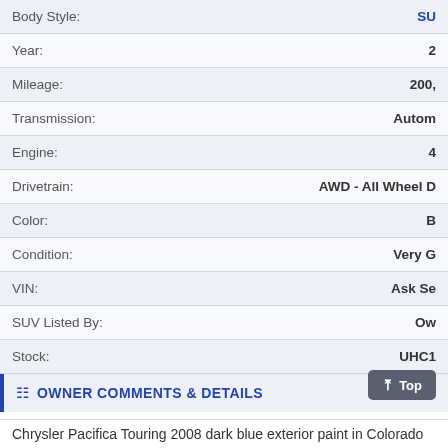| Field | Value |
| --- | --- |
| Body Style: | SU… |
| Year: | 2… |
| Mileage: | 200,… |
| Transmission: | Autom… |
| Engine: | 4… |
| Drivetrain: | AWD - All Wheel D… |
| Color: | … |
| Condition: | Very G… |
| VIN: | Ask Se… |
| SUV Listed By: | Ow… |
| Stock: | UHC1… |
| Category: | SUVs Under $60… |
OWNER COMMENTS & DETAILS
Chrysler Pacifica Touring 2008 dark blue exterior paint in Colorado